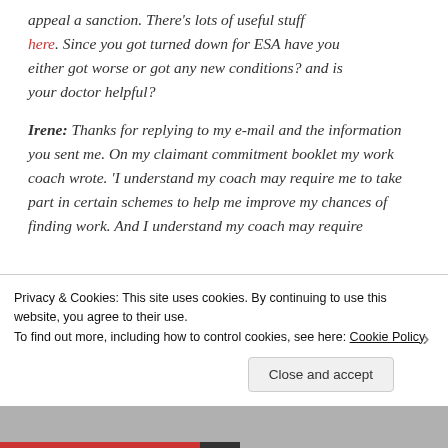appeal a sanction. There's lots of useful stuff here. Since you got turned down for ESA have you either got worse or got any new conditions? and is your doctor helpful?
Irene: Thanks for replying to my e-mail and the information you sent me. On my claimant commitment booklet my work coach wrote. 'I understand my coach may require me to take part in certain schemes to help me improve my chances of finding work. And I understand my coach may require
Privacy & Cookies: This site uses cookies. By continuing to use this website, you agree to their use.
To find out more, including how to control cookies, see here: Cookie Policy